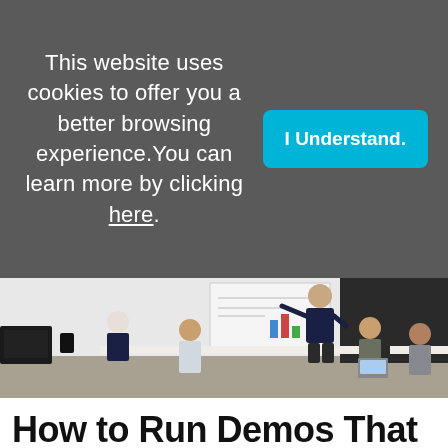This website uses cookies to offer you a better browsing experience. You can learn more by clicking here.
[Figure (photo): Office meeting scene: a man standing at a whiteboard presenting to a group of colleagues seated at desks with computers. The presenter is pointing at charts on the board while attendees engage and interact.]
How to Run Demos That Win